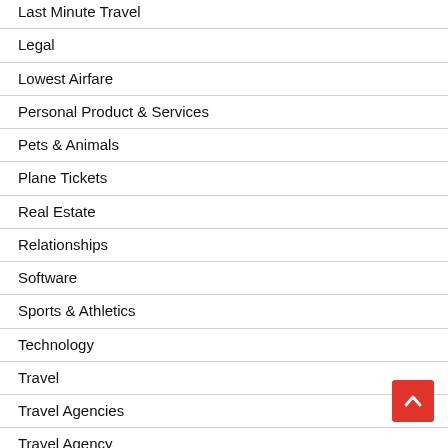Last Minute Travel
Legal
Lowest Airfare
Personal Product & Services
Pets & Animals
Plane Tickets
Real Estate
Relationships
Software
Sports & Athletics
Technology
Travel
Travel Agencies
Travel Agency